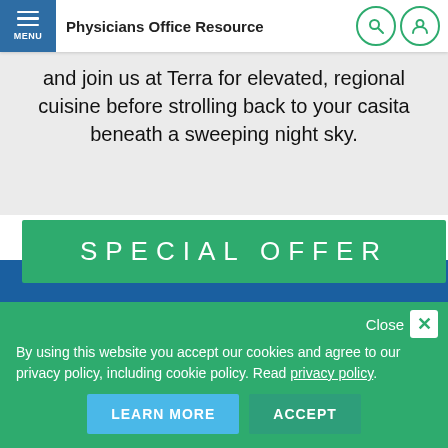Physicians Office Resource
and join us at Terra for elevated, regional cuisine before strolling back to your casita beneath a sweeping night sky.
SPECIAL OFFER
ADVANCE
Close
By using this website you accept our cookies and agree to our privacy policy, including cookie policy. Read privacy policy.
LEARN MORE
ACCEPT